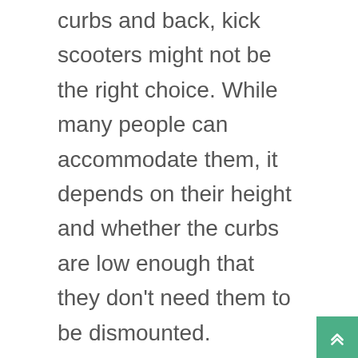curbs and back, kick scooters might not be the right choice. While many people can accommodate them, it depends on their height and whether the curbs are low enough that they don't need them to be dismounted.
Congested Highways
Check to see if riding a kick scooter on the road is legal in your area before doing so. Do your homework before purchasing a kick scooter because the rules and regulations differ greatly by jurisdiction